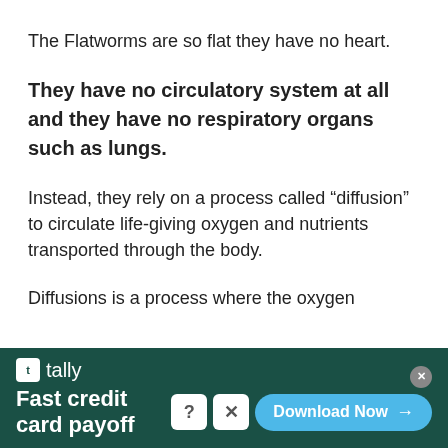The Flatworms are so flat they have no heart.
They have no circulatory system at all and they have no respiratory organs such as lungs.
Instead, they rely on a process called “diffusion” to circulate life-giving oxygen and nutrients transported through the body.
Diffusions is a process where the oxygen
[Figure (other): Advertisement banner for Tally app: Fast credit card payoff, with Download Now button, on dark green background]